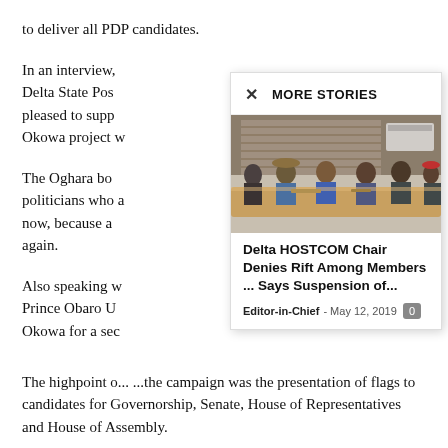to deliver all PDP candidates.
In an interview, Delta State Pos pleased to supp Okowa project w
The Oghara bo politicians who a now, because a again.
Also speaking w Prince Obaro U Okowa for a sec
[Figure (photo): Several men seated at a conference table in an office setting]
MORE STORIES
Delta HOSTCOM Chair Denies Rift Among Members ... Says Suspension of...
Editor-in-Chief - May 12, 2019
The highpoint o... ...the campaign was the presentation of flags to candidates for Governorship, Senate, House of Representatives and House of Assembly.